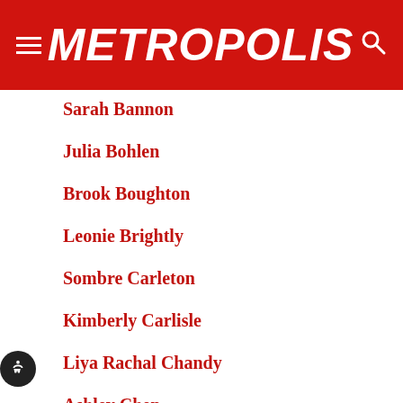METROPOLIS
Sarah Bannon
Julia Bohlen
Brook Boughton
Leonie Brightly
Sombre Carleton
Kimberly Carlisle
Liya Rachal Chandy
Ashley Chen
Dongqi Chen
Elina Chen
Jiang Chen
... Chen